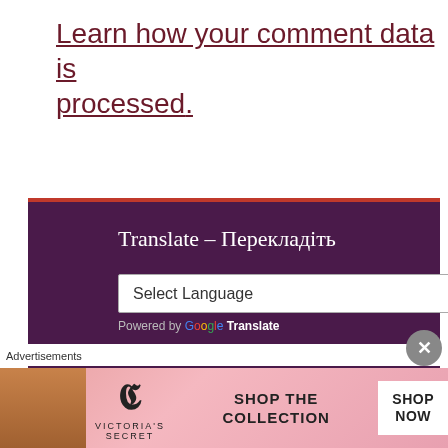Learn how your comment data is processed.
[Figure (screenshot): Translate widget box with dark purple background and orange-red top border. Contains heading 'Translate – Перекладіть', a 'Select Language' dropdown, and 'Powered by Google Translate' text.]
[Figure (screenshot): Tip Jar section with dark purple background and orange-red top border. Shows a jar icon and 'Tip Jar' heading text.]
Advertisements
[Figure (screenshot): Victoria's Secret advertisement banner with pink background, model photo, VS logo, 'SHOP THE COLLECTION' text, and 'SHOP NOW' button.]